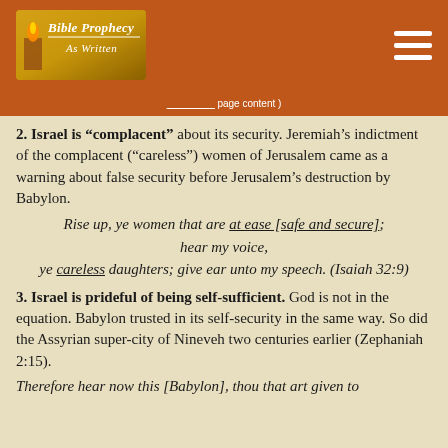[Figure (logo): Bible Prophecy As Written logo with golden/brown background and candle/torch image]
[navigation link] page content
2. Israel is "complacent" about its security. Jeremiah's indictment of the complacent ("careless") women of Jerusalem came as a warning about false security before Jerusalem's destruction by Babylon.
Rise up, ye women that are at ease [safe and secure]; hear my voice, ye careless daughters; give ear unto my speech. (Isaiah 32:9)
3. Israel is prideful of being self-sufficient. God is not in the equation. Babylon trusted in its self-security in the same way. So did the Assyrian super-city of Nineveh two centuries earlier (Zephaniah 2:15).
Therefore hear now this [Babylon], thou that art given to